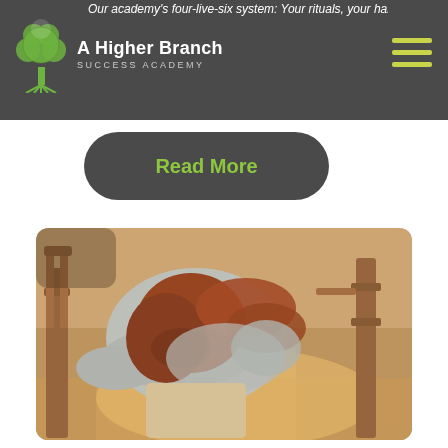Our academy's four-live-six system: Your rituals, your habits...
[Figure (logo): A Higher Branch Success Academy logo - white tree with roots on dark background, text 'A Higher Branch SUCCESS ACADEMY']
Read More
[Figure (photo): A red-haired woman in a light blue sweater, hunched over with her head down on her arms, sitting in a wooden chair, photographed from above at an angle, appearing distressed or tired, warm sunlight on wooden floor]